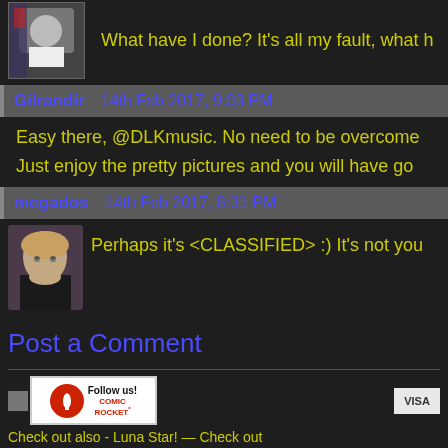What have I done? It's all my fault, what h
Gilrandir   14th Feb 2017, 9:03 PM
Easy there, @DLKmusic. No need to be overcome
Just enjoy the pretty pictures and you will have go
megados   14th Feb 2017, 8:31 PM
Perhaps it's <CLASSIFIED> :) It's not you
Post a Comment
[Figure (logo): Comic Rocket Follow us badge - red circular logo with rocket icon and text 'Follow us! COMIC ROCKET']
Check out also - Luna Star! — Check out
© 2007 - 2022 Terri Ha
RSS | C